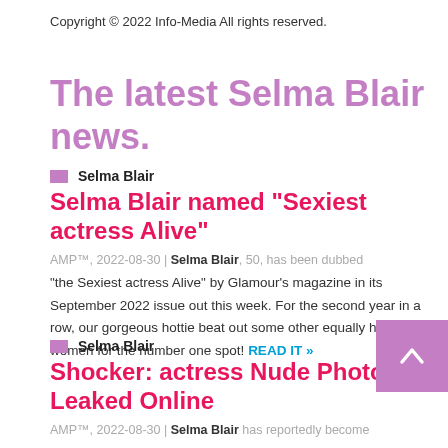Copyright © 2022 Info-Media All rights reserved.
The latest Selma Blair news.
Selma Blair
Selma Blair named “Sexiest actress Alive”
AMP™, 2022-08-30 | Selma Blair, 50, has been dubbed “the Sexiest actress Alive” by Glamour’s magazine in its September 2022 issue out this week. For the second year in a row, our gorgeous hottie beat out some other equally hot women for the number one spot! READ IT »
Selma Blair
Shocker: actress Nude Photos Leaked Online
AMP™, 2022-08-30 | Selma Blair has reportedly become the latest celebrity to fall victim to apparent leaked nude